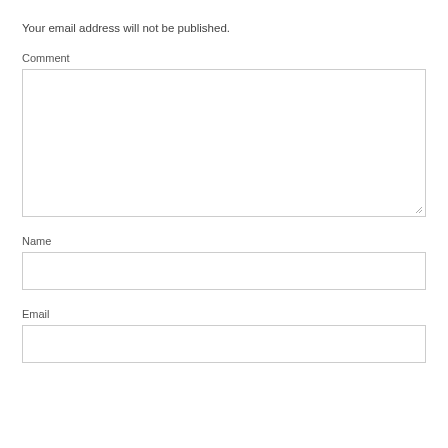Your email address will not be published.
Comment
[Figure (other): Comment textarea input field]
Name
[Figure (other): Name text input field]
Email
[Figure (other): Email text input field]